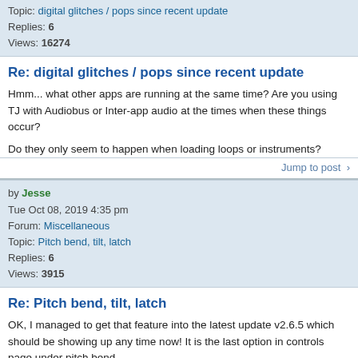Topic: digital glitches / pops since recent update
Replies: 6
Views: 16274
Re: digital glitches / pops since recent update
Hmm... what other apps are running at the same time? Are you using TJ with Audiobus or Inter-app audio at the times when these things occur?

Do they only seem to happen when loading loops or instruments?
Jump to post >
by Jesse
Tue Oct 08, 2019 4:35 pm
Forum: Miscellaneous
Topic: Pitch bend, tilt, latch
Replies: 6
Views: 3915
Re: Pitch bend, tilt, latch
OK, I managed to get that feature into the latest update v2.6.5 which should be showing up any time now! It is the last option in controls page under pitch bend.
Jump to post >
by Jesse
Mon Oct 07, 2019 3:04 pm
Forum: Miscellaneous
Topic: Pitch bend, tilt, latch
Replies: 6
Views: 3915